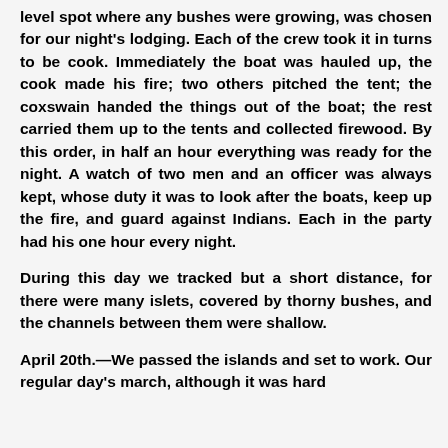level spot where any bushes were growing, was chosen for our night's lodging. Each of the crew took it in turns to be cook. Immediately the boat was hauled up, the cook made his fire; two others pitched the tent; the coxswain handed the things out of the boat; the rest carried them up to the tents and collected firewood. By this order, in half an hour everything was ready for the night. A watch of two men and an officer was always kept, whose duty it was to look after the boats, keep up the fire, and guard against Indians. Each in the party had his one hour every night.
During this day we tracked but a short distance, for there were many islets, covered by thorny bushes, and the channels between them were shallow.
April 20th.—We passed the islands and set to work. Our regular day's march, although it was hard